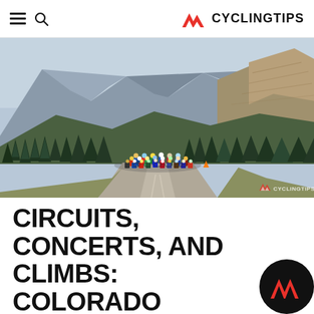CYCLINGTIPS
[Figure (photo): A peloton of cyclists riding on a mountain road surrounded by pine trees and dramatic rocky mountain peaks in the background. The CyclingTips watermark is visible in the bottom right corner.]
CIRCUITS, CONCERTS, AND CLIMBS: COLORADO CLASSIC ANNOUNCES ROUTE DETAILS